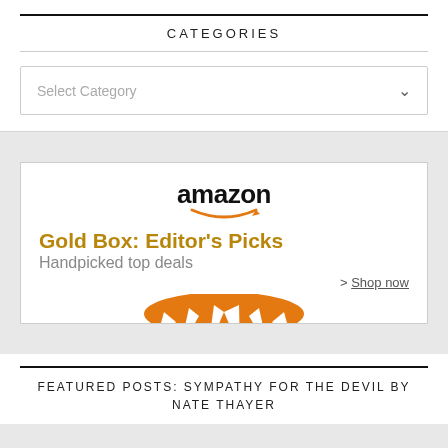CATEGORIES
[Figure (screenshot): Dropdown select box with placeholder text 'Select Category' and a chevron arrow on the right]
[Figure (illustration): Amazon Gold Box: Editor's Picks advertisement with Amazon logo, text 'Gold Box: Editor's Picks', 'Handpicked top deals', 'Shop now' link, and orange crown/box shape at the bottom]
FEATURED POSTS: SYMPATHY FOR THE DEVIL BY NATE THAYER